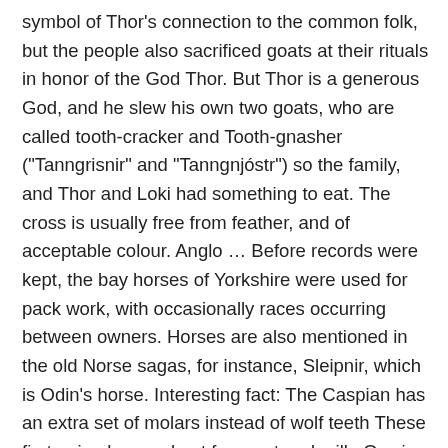symbol of Thor's connection to the common folk, but the people also sacrificed goats at their rituals in honor of the God Thor. But Thor is a generous God, and he slew his own two goats, who are called tooth-cracker and Tooth-gnasher ("Tanngrisnir" and "Tanngnjóstr") so the family, and Thor and Loki had something to eat. The cross is usually free from feather, and of acceptable colour. Anglo … Before records were kept, the bay horses of Yorkshire were used for pack work, with occasionally races occurring between owners. Horses are also mentioned in the old Norse sagas, for instance, Sleipnir, which is Odin's horse. Interesting fact: The Caspian has an extra set of molars instead of wolf teeth These first animals were kept for meat and milk. Owning cattle was not something for the common people in the Viking age, and it was seen as having a high status within the Viking society, not only were they expensive to purchase, they did also require that you owned a large piece of land for them to grass on. The native equine breed of Mongolia and one of the